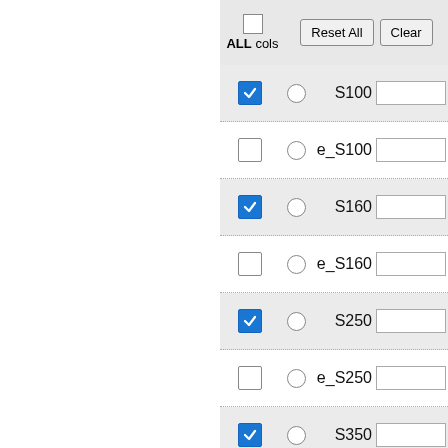[Figure (screenshot): UI panel showing a column selector with checkboxes, radio buttons, labels (S100, e_S100, S160, e_S160, S250, e_S250, S350, e_S350), Reset All and Clear buttons, and a header row with ALL cols label and a top-level checkbox.]